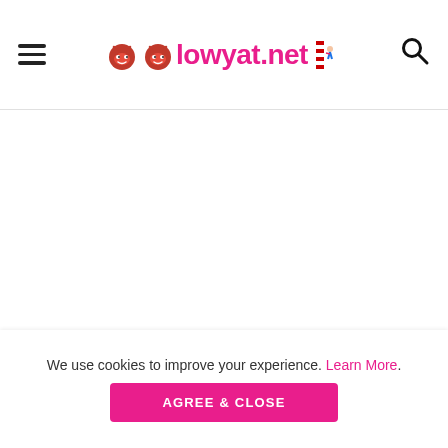lowyat.net
[Figure (photo): Large white/blank image area representing an Apple-related photo]
[Image: Apple.]
We use cookies to improve your experience. Learn More.
AGREE & CLOSE